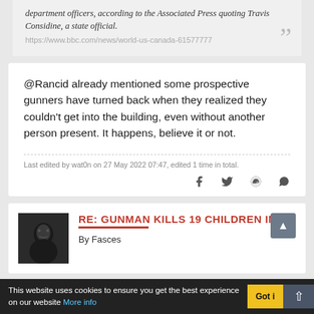department officers, according to the Associated Press quoting Travis Considine, a state official.
https://www.bbc.com/news/world-us-canada-61577777
@Rancid already mentioned some prospective gunners have turned back when they realized they couldn't get into the building, even without another person present. It happens, believe it or not.
Last edited by wat0n on 27 May 2022 07:47, edited 1 time in total.
RE: GUNMAN KILLS 19 CHILDREN IN TEX
By Fasces
This website uses cookies to ensure you get the best experience on our website More info